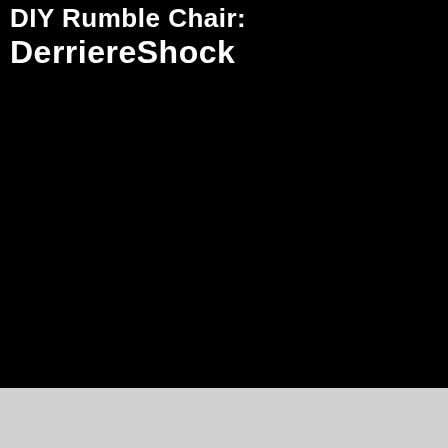DIY Rumble Chair: DerriereShock
[Figure (photo): Mostly black background image filling the upper portion of the page]